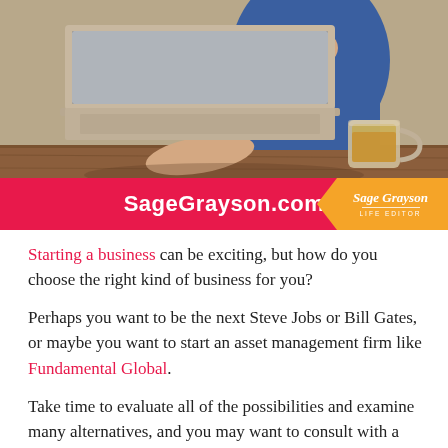[Figure (photo): Woman in blue top working at a laptop on a wooden desk, holding a glass mug of tea. Photo banner for SageGrayson.com website.]
Starting a business can be exciting, but how do you choose the right kind of business for you?
Perhaps you want to be the next Steve Jobs or Bill Gates, or maybe you want to start an asset management firm like Fundamental Global.
Take time to evaluate all of the possibilities and examine many alternatives, and you may want to consult with a business advisor.
Here are 3 questions to ask yourself when you decide to start a business.